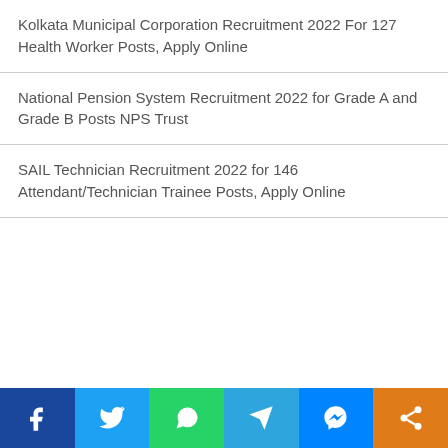Kolkata Municipal Corporation Recruitment 2022 For 127 Health Worker Posts, Apply Online
National Pension System Recruitment 2022 for Grade A and Grade B Posts NPS Trust
SAIL Technician Recruitment 2022 for 146 Attendant/Technician Trainee Posts, Apply Online
[Figure (infographic): Social media share bar with icons for Facebook, Twitter, WhatsApp, Telegram, Messenger, and Share]